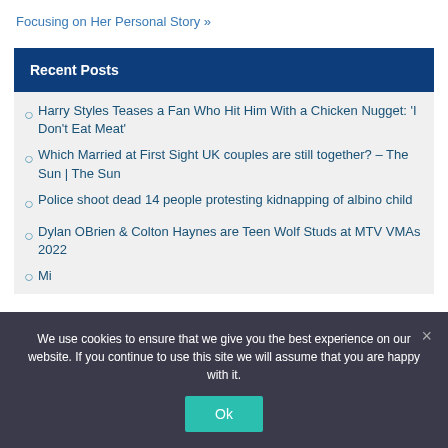Focusing on Her Personal Story »
Recent Posts
Harry Styles Teases a Fan Who Hit Him With a Chicken Nugget: 'I Don't Eat Meat'
Which Married at First Sight UK couples are still together? – The Sun | The Sun
Police shoot dead 14 people protesting kidnapping of albino child
Dylan OBrien & Colton Haynes are Teen Wolf Studs at MTV VMAs 2022
Mi... (partially visible)
We use cookies to ensure that we give you the best experience on our website. If you continue to use this site we will assume that you are happy with it.